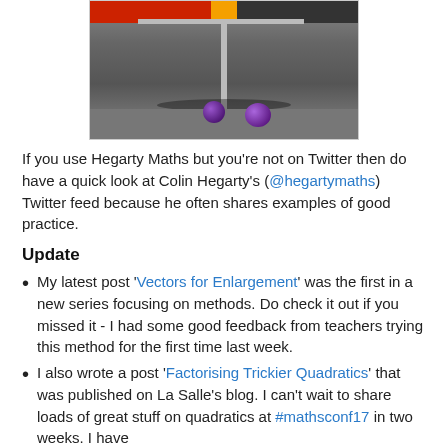[Figure (photo): A photo of a whiteboard stand/easel on a floor with purple balls/objects nearby, partially showing the top portion of the image.]
If you use Hegarty Maths but you're not on Twitter then do have a quick look at Colin Hegarty's (@hegartymaths) Twitter feed because he often shares examples of good practice.
Update
My latest post 'Vectors for Enlargement' was the first in a new series focusing on methods. Do check it out if you missed it - I had some good feedback from teachers trying this method for the first time last week.
I also wrote a post 'Factorising Trickier Quadratics' that was published on La Salle's blog. I can't wait to share loads of great stuff on quadratics at #mathsconf17 in two weeks. I have